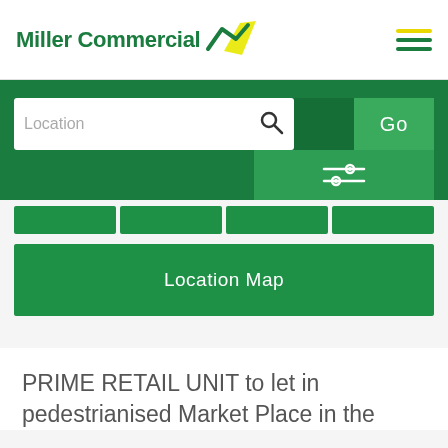[Figure (logo): Miller Commercial logo with green text and yellow/green swoosh icon]
[Figure (screenshot): Navigation menu hamburger icon with yellow top line and two green lines]
[Figure (screenshot): Green search bar section with white Location input box, search icon, Go button, and filter/sliders button]
[Figure (screenshot): Green Location Map button]
PRIME RETAIL UNIT to let in pedestrianised Market Place in the